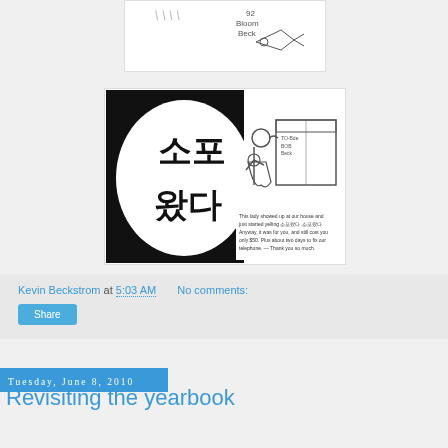[Figure (illustration): A hand-drawn sketch with handwriting and a small cartoon figure, partially visible at top of page]
[Figure (illustration): A cartoon drawing featuring Korean text (소포 왔다) in a large speech bubble on a black background, with a woman holding a baby looking at a box, and handwritten English text below]
Kevin Beckstrom at 5:03 AM    No comments:
Share
Tuesday, June 8, 2010
Revisiting the yearbook